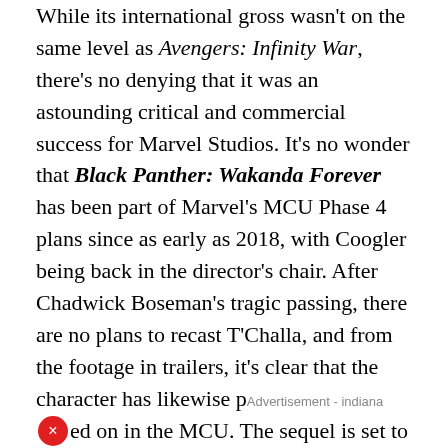While its international gross wasn't on the same level as Avengers: Infinity War, there's no denying that it was an astounding critical and commercial success for Marvel Studios. It's no wonder that Black Panther: Wakanda Forever has been part of Marvel's MCU Phase 4 plans since as early as 2018, with Coogler being back in the director's chair. After Chadwick Boseman's tragic passing, there are no plans to recast T'Challa, and from the footage in trailers, it's clear that the character has likewise passed on in the MCU. The sequel is set to focus on other aspects of Wakandan culture. Shuri, played by Letitia Wright, will play a central role, but while there will be a new Black Panther, their identity is still a secret. However, what has been confirmed is Black Panther: Wakanda Forever introduces Namor and an underwater kingdom strongly suspected to be Atlantis to the MCU. Namor is a character Marvel comics fans have wanted